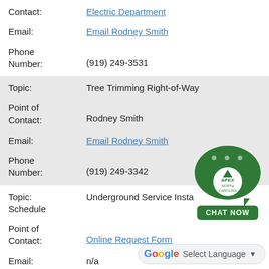Contact: Electric Department
Email: Email Rodney Smith
Phone Number: (919) 249-3531
Topic: Tree Trimming Right-of-Way
Point of Contact: Rodney Smith
Email: Email Rodney Smith
Phone Number: (919) 249-3342
Topic: Underground Service Installation Schedule
Point of Contact: Online Request Form
Email: n/a